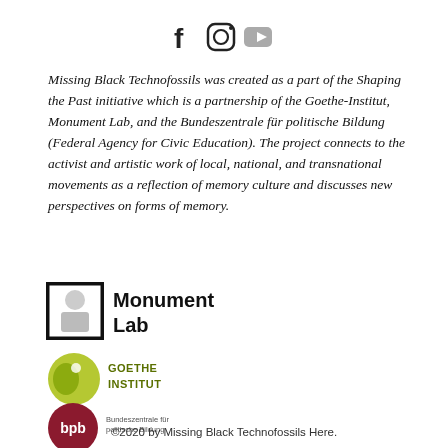[Figure (logo): Social media icons: Facebook (f), Instagram, YouTube]
Missing Black Technofossils was created as a part of the Shaping the Past initiative which is a partnership of the Goethe-Institut, Monument Lab, and the Bundeszentrale für politische Bildung (Federal Agency for Civic Education). The project connects to the activist and artistic work of local, national, and transnational movements as a reflection of memory culture and discusses new perspectives on forms of memory.
[Figure (logo): Monument Lab logo — black and white with stylized face icon and bold text 'Monument Lab']
[Figure (logo): Goethe-Institut logo — green circle with curling shape and text 'Goethe Institut']
[Figure (logo): Bundeszentrale für politische Bildung (bpb) logo — dark red circle with 'bpb' text and full name]
©2020 by Missing Black Technofossils Here.